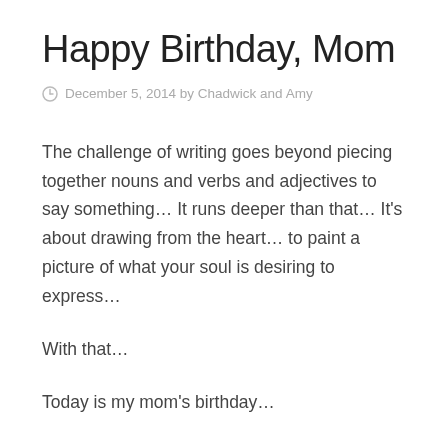Happy Birthday, Mom
December 5, 2014 by Chadwick and Amy
The challenge of writing goes beyond piecing together nouns and verbs and adjectives to say something… It runs deeper than that… It's about drawing from the heart… to paint a picture of what your soul is desiring to express…
With that…
Today is my mom's birthday…
I am grateful for her… not in the things that she